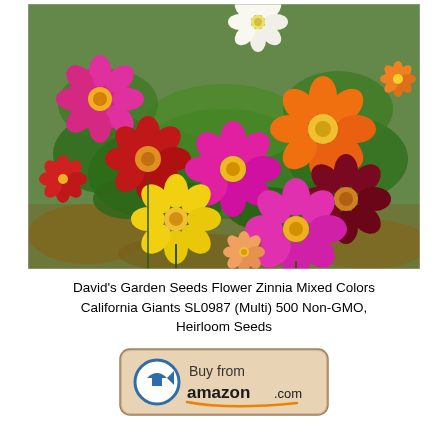[Figure (photo): Colorful Zinnia flowers including pink, red, orange, yellow, and magenta blooms with green foliage in a garden setting.]
David's Garden Seeds Flower Zinnia Mixed Colors California Giants SL0987 (Multi) 500 Non-GMO, Heirloom Seeds
[Figure (logo): Buy from amazon.com button with Amazon arrow logo on a beige/tan rounded rectangle background.]